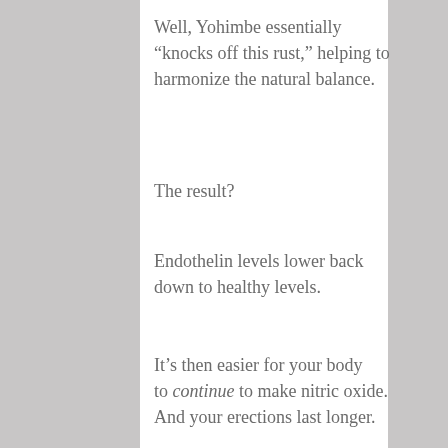Well, Yohimbe essentially “knocks off this rust,” helping to harmonize the natural balance.
The result?
Endothelin levels lower back down to healthy levels.
It’s then easier for your body to continue to make nitric oxide. And your erections last longer.
In a clinical study, researchers gave a combination of L-arginine